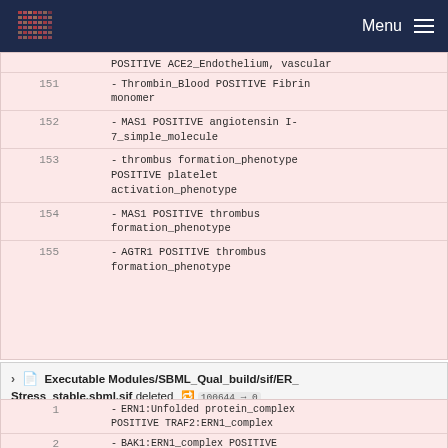Menu
POSITIVE ACE2_Endothelium, vascular
151 - Thrombin_Blood POSITIVE Fibrin monomer
152 - MAS1 POSITIVE angiotensin I-7_simple_molecule
153 - thrombus formation_phenotype POSITIVE platelet activation_phenotype
154 - MAS1 POSITIVE thrombus formation_phenotype
155 - AGTR1 POSITIVE thrombus formation_phenotype
Executable Modules/SBML_Qual_build/sif/ER_Stress_stable.sbml.sif deleted 100644 → 0
1 - ERN1:Unfolded protein_complex POSITIVE TRAF2:ERN1_complex
2 - BAK1:ERN1_complex POSITIVE TRAF2:ERN1_complex